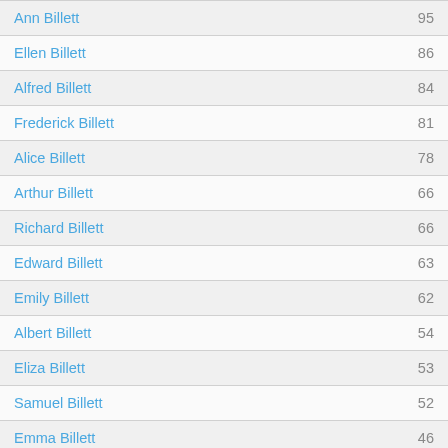| Name | Score |
| --- | --- |
| Ann Billett | 95 |
| Ellen Billett | 86 |
| Alfred Billett | 84 |
| Frederick Billett | 81 |
| Alice Billett | 78 |
| Arthur Billett | 66 |
| Richard Billett | 66 |
| Edward Billett | 63 |
| Emily Billett | 62 |
| Albert Billett | 54 |
| Eliza Billett | 53 |
| Samuel Billett | 52 |
| Emma Billett | 46 |